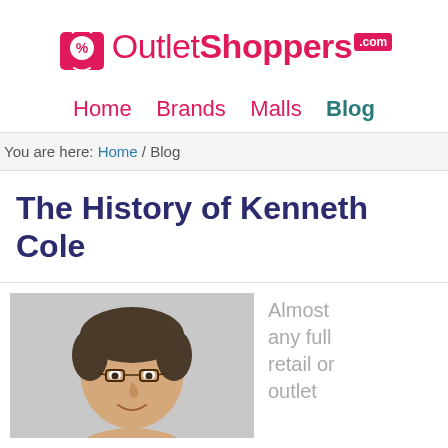[Figure (logo): OutletShoppers.com logo with pink shopping bag icon and brand name]
Home  Brands  Malls  Blog
You are here: Home / Blog
The History of Kenneth Cole
[Figure (photo): Photo of a middle-aged man with glasses and dark hair, smiling, against a light background]
Almost any full retail or outlet